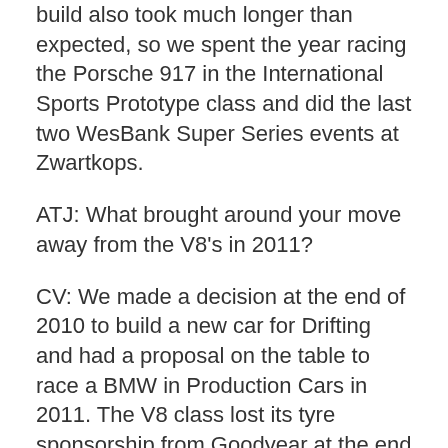build also took much longer than expected, so we spent the year racing the Porsche 917 in the International Sports Prototype class and did the last two WesBank Super Series events at Zwartkops.
ATJ: What brought around your move away from the V8's in 2011?
CV: We made a decision at the end of 2010 to build a new car for Drifting and had a proposal on the table to race a BMW in Production Cars in 2011. The V8 class lost its tyre sponsorship from Goodyear at the end of 2010 and coupled with the increased costs of competing and the level of politics that had developed in the class led us to the decision to move on. Unfortunately, the BMW proposal fell through at the eleventh hour so we were left without a confirmed plan just before the